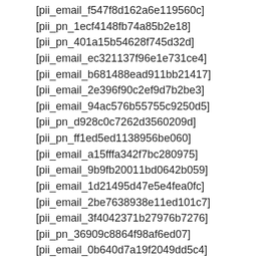[pii_email_f547f8d162a6e119560c]
[pii_pn_1ecf4148fb74a85b2e18]
[pii_pn_401a15b54628f745d32d]
[pii_email_ec321137f96e1e731ce4]
[pii_email_b681488ead911bb21417]
[pii_email_2e396f90c2ef9d7b2be3]
[pii_email_94ac576b55755c9250d5]
[pii_pn_d928c0c7262d3560209d]
[pii_pn_ff1ed5ed1138956be060]
[pii_email_a15fffa342f7bc280975]
[pii_email_9b9fb20011bd0642b059]
[pii_email_1d21495d47e5e4fea0fc]
[pii_email_2be7638938e11ed101c7]
[pii_email_3f4042371b27976b7276]
[pii_pn_36909c8864f98af6ed07]
[pii_email_0b640d7a19f2049dd5c4]